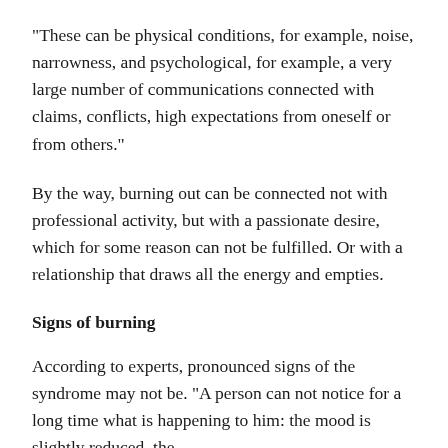“These can be physical conditions, for example, noise, narrowness, and psychological, for example, a very large number of communications connected with claims, conflicts, high expectations from oneself or from others.”
By the way, burning out can be connected not with professional activity, but with a passionate desire, which for some reason can not be fulfilled. Or with a relationship that draws all the energy and empties.
Signs of burning
According to experts, pronounced signs of the syndrome may not be. “A person can not notice for a long time what is happening to him: the mood is slightly reduced, the